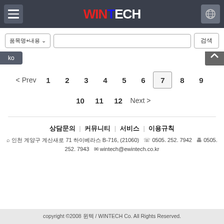WINTECH
품목명+내용 검색
ko
< Prev  1  2  3  4  5  6  7  8  9  10  11  12  Next >
상담문의 | 커뮤니티 | 서비스 | 이용규칙
인천 계양구 계산새로 71 하이베라스 B-716, (21060)  0505. 252. 7942  0505. 252. 7943  wintech@ewintech.co.kr
copyright ©2008 윈텍 / WINTECH Co. All Rights Reserved.